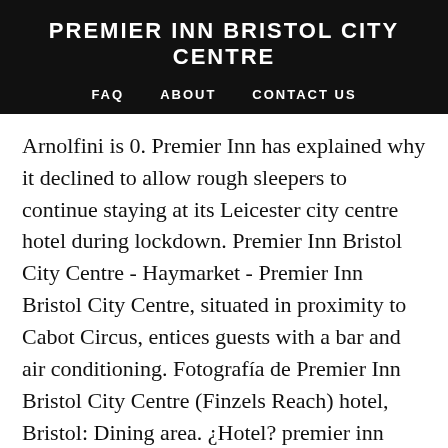PREMIER INN BRISTOL CITY CENTRE
FAQ   ABOUT   CONTACT US
Arnolfini is 0. Premier Inn has explained why it declined to allow rough sleepers to continue staying at its Leicester city centre hotel during lockdown. Premier Inn Bristol City Centre - Haymarket - Premier Inn Bristol City Centre, situated in proximity to Cabot Circus, entices guests with a bar and air conditioning. Fotografía de Premier Inn Bristol City Centre (Finzels Reach) hotel, Bristol: Dining area. ¿Hotel? premier inn bristol city centre haymarket bristol • premier inn bristol city centre haymarket bristol photos • premier inn bristol city centre haymarket bristol